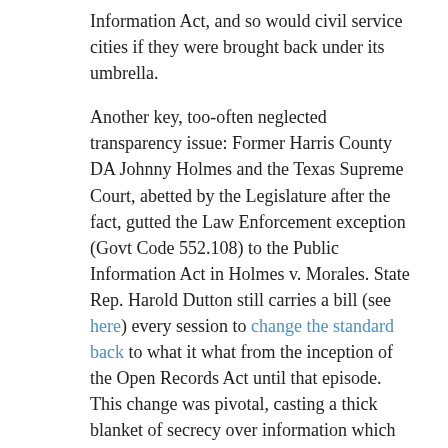Information Act, and so would civil service cities if they were brought back under its umbrella.
Another key, too-often neglected transparency issue: Former Harris County DA Johnny Holmes and the Texas Supreme Court, abetted by the Legislature after the fact, gutted the Law Enforcement exception (Govt Code 552.108) to the Public Information Act in Holmes v. Morales. State Rep. Harold Dutton still carries a bill (see here) every session to change the standard back to what it what from the inception of the Open Records Act until that episode. This change was pivotal, casting a thick blanket of secrecy over information which had been public for decades. If we don't fix the transparency problem - both reinvigorating the law enforcement exception and re-opening disciplinary files in civil service cities - IMO all other "solutions" will founder.
Accounting for Misconduct in